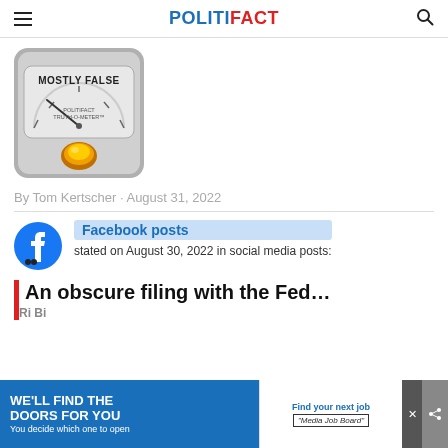POLITIFACT
[Figure (illustration): PolitiFact Truth-O-Meter gauge showing 'MOSTLY FALSE' rating with orange indicator light and needle pointing to left of center]
By Tom Kertscher · August 31, 2022
[Figure (logo): Facebook logo - blue circle with white 'f']
Facebook posts stated on August 30, 2022 in social media posts:
An obscure filing with the Fed…
[Figure (other): Advertisement banner: 'We'll Find The Doors For You' on blue background, with 'Find your next job - Media Job Board' on right side]